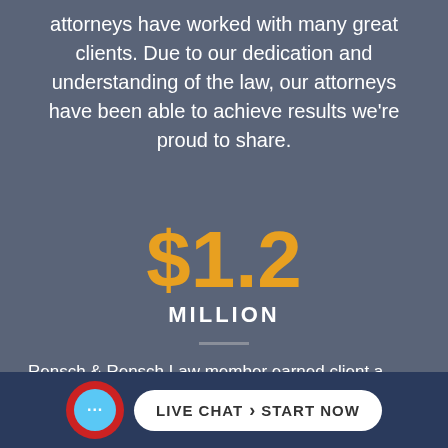attorneys have worked with many great clients. Due to our dedication and understanding of the law, our attorneys have been able to achieve results we're proud to share.
$1.2 MILLION
Rensch & Rensch Law member earned client a $1.2 million judgment in a wrongful death
[Figure (infographic): Live Chat Start Now button bar with chat bubble icon at bottom of page]